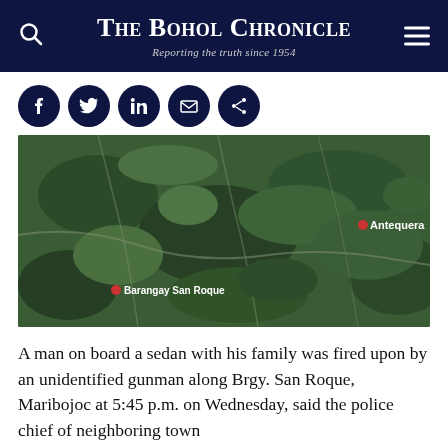The Bohol Chronicle — Reporting the truth since 1954
[Figure (other): Social media share icons: Facebook, Twitter, LinkedIn, Email, Share]
[Figure (map): Satellite/aerial map showing Barangay San Roque (lower left, marked with red pin) and Antequera (upper right, marked with red pin), forested hilly terrain in Bohol, Philippines.]
A man on board a sedan with his family was fired upon by an unidentified gunman along Brgy. San Roque, Maribojoc at 5:45 p.m. on Wednesday, said the police chief of neighboring town